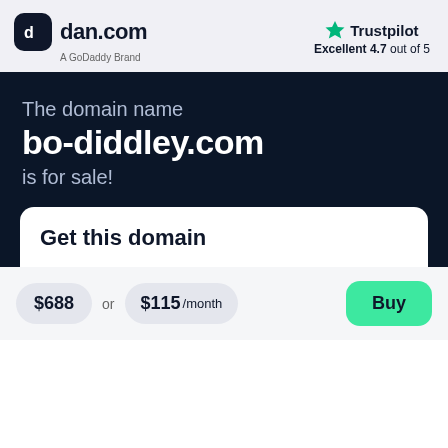[Figure (logo): dan.com logo with dark rounded square icon and text, A GoDoddy Brand subtitle]
[Figure (logo): Trustpilot logo with green star, rated Excellent 4.7 out of 5]
The domain name
bo-diddley.com
is for sale!
Get this domain
$688 or $115 /month
Buy